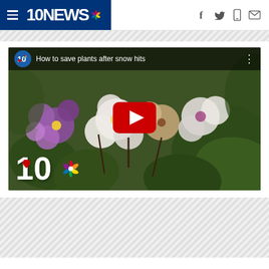10NEWS NBC - navigation header with hamburger menu and social icons (f, Twitter, mobile, mail)
[Figure (screenshot): YouTube-style embedded video thumbnail showing purple and white flowers (African violets) with a red YouTube play button in the center. Top bar shows 10News NBC logo in a blue circle and title 'How to save plants after snow hits'. Bottom left shows 10News NBC station logo with '10' in large white text and a red heart, alongside the NBC peacock multicolor logo.]